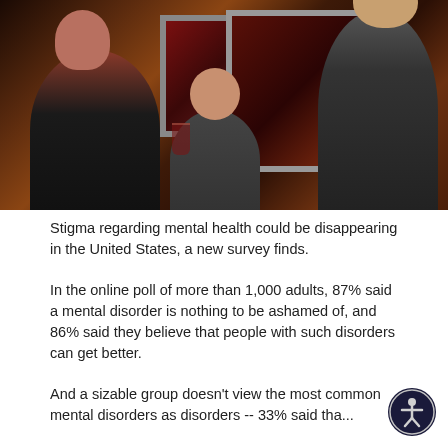[Figure (photo): People socializing in a restaurant or social gathering setting, with artwork/framed pictures on dark wood-paneled walls in the background. A woman on the left is laughing, a young woman in the middle is smiling, a child and a man on the right are also present.]
Stigma regarding mental health could be disappearing in the United States, a new survey finds.
In the online poll of more than 1,000 adults, 87% said a mental disorder is nothing to be ashamed of, and 86% said they believe that people with such disorders can get better.
And a sizable group doesn't view the most common mental disorders as disorders -- 33% said tha...